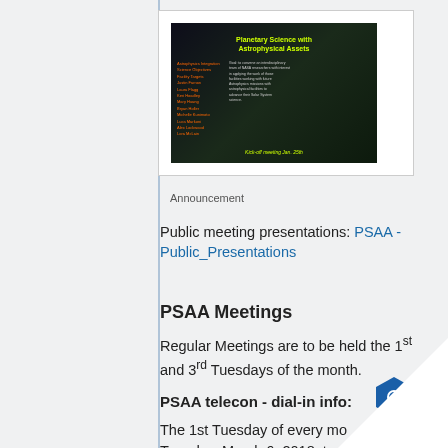[Figure (screenshot): Thumbnail image of a slide titled 'Planetary Science with Astrophysical Assets' with green/yellow text on dark background, showing a list of names and a kick-off meeting date of Jan. 25th]
Announcement
Public meeting presentations: PSAA - Public_Presentations
PSAA Meetings
Regular Meetings are to be held the 1st and 3rd Tuesdays of the month.
PSAA telecon - dial-in info:
The 1st Tuesday of every mor... Tuesday, March 6, 2018, to n... 11:55 am | Eastern Stand...